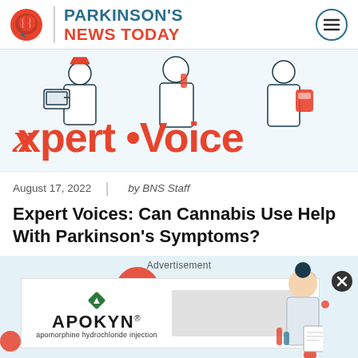PARKINSON'S NEWS TODAY
[Figure (illustration): Xpert Voice banner illustration showing cartoon figures of medical professionals with red decorative text reading 'xpert Voice' on a white/teal background]
August 17, 2022 | by BNS Staff
Expert Voices: Can Cannabis Use Help With Parkinson's Symptoms?
[Figure (illustration): Advertisement banner for APOKYN (apomorphine hydrochloride injection) with red decorative circles/blobs on light blue background, with a close button (x) on the right]
Advertisement